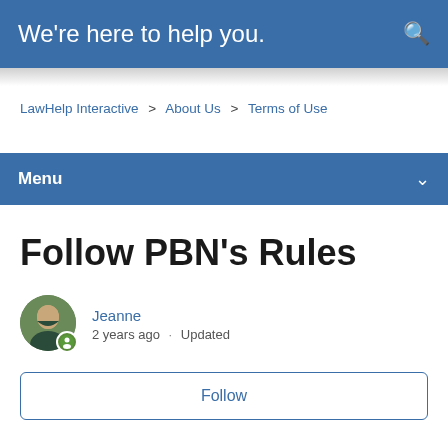We're here to help you.
LawHelp Interactive > About Us > Terms of Use
Menu
Follow PBN's Rules
Jeanne
2 years ago · Updated
Follow